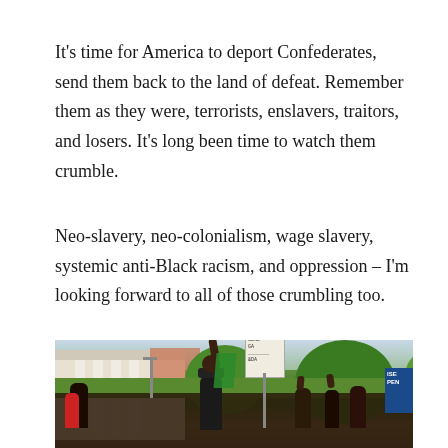It's time for America to deport Confederates, send them back to the land of defeat. Remember them as they were, terrorists, enslavers, traitors, and losers. It's long been time to watch them crumble.
Neo-slavery, neo-colonialism, wage slavery, systemic anti-Black racism, and oppression – I'm looking forward to all of those crumbling too.
[Figure (photo): Outdoor protest scene with people raising fists and holding signs. A man in a dark cap stands prominently, raising his fist. Signs visible include one reading 'SEND GA [something]' and a blue sign on the right. Green trees and a white-columned building visible in the background.]